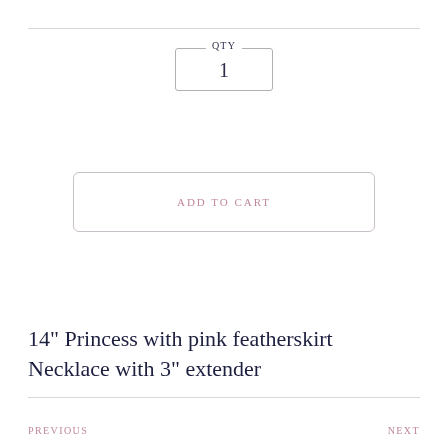[Figure (screenshot): QTY input field showing value 1, styled as a fieldset with legend label QTY]
[Figure (screenshot): ADD TO CART button with rounded rectangle border in light pink/grey]
14" Princess with pink featherskirt Necklace with 3" extender
PREVIOUS    NEXT